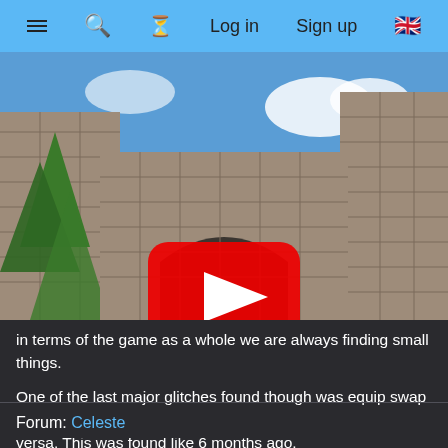≡  🔍  ⏳  Log in  Sign up  🇬🇧
[Figure (screenshot): Video thumbnail of a 3D game scene showing stone walls, green trees, and a blue sky, with a red YouTube play button overlay in the center.]
in terms of the game as a whole we are always finding small things.
One of the last major glitches found though was equip swap which allows you to equip adult times as child and vice versa. This was found like 6 months ago.
Forum: Celeste